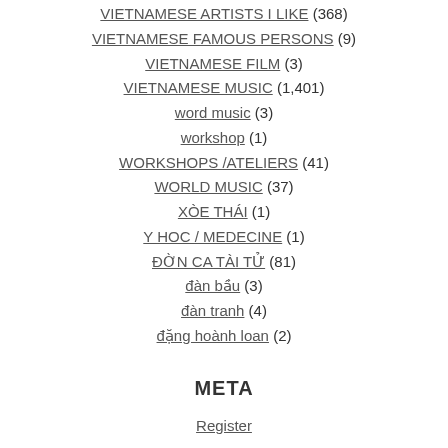VIETNAMESE ARTISTS I LIKE (368)
VIETNAMESE FAMOUS PERSONS (9)
VIETNAMESE FILM (3)
VIETNAMESE MUSIC (1,401)
word music (3)
workshop (1)
WORKSHOPS /ATELIERS (41)
WORLD MUSIC (37)
XÒE THÁI (1)
Y HOC / MEDECINE (1)
ĐỜN CA TÀI TỬ (81)
đàn bầu (3)
đàn tranh (4)
đặng hoành loan (2)
META
Register